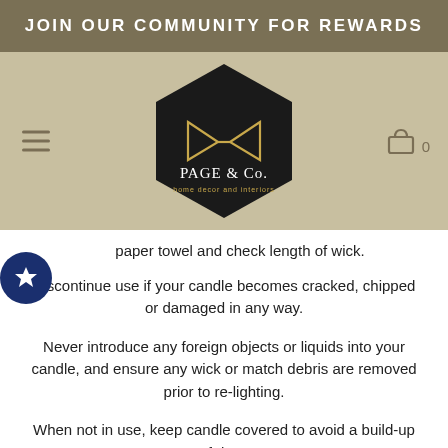JOIN OUR COMMUNITY FOR REWARDS
[Figure (logo): Page & Co. home decor and interiors hexagonal black and gold logo]
paper towel and check length of wick.
Discontinue use if your candle becomes cracked, chipped or damaged in any way.
Never introduce any foreign objects or liquids into your candle, and ensure any wick or match debris are removed prior to re-lighting.
When not in use, keep candle covered to avoid a build-up of dust.
We recommend the use of a candle-snuffer for proper extinguishing, however if this is not available blow gently and steadily on the flame to extinguish.